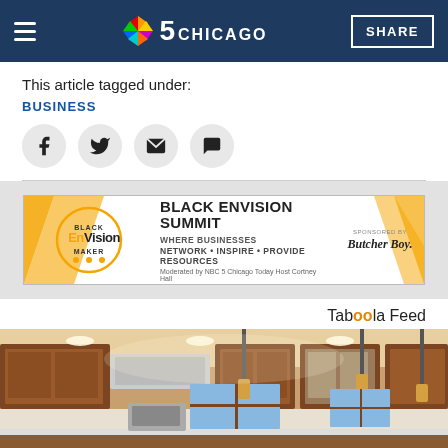NBC 5 Chicago — SHARE
This article tagged under:
BUSINESS
[Figure (infographic): Social sharing icons: Facebook, Twitter, Email, Comment]
[Figure (infographic): Black Envision Summit advertisement banner. Text: EnVision Maker, BLACK ENVISION SUMMIT, WHERE BUSINESSES NETWORK • INSPIRE • PROVIDE RESOURCES, Moderated by NBC 5 Chicago Today Host Cortney Hall. Sponsored by Butcher Boy.]
Taboola Feed
[Figure (photo): Kitchen interior with wood cabinets, pendant lights, and recessed lighting]